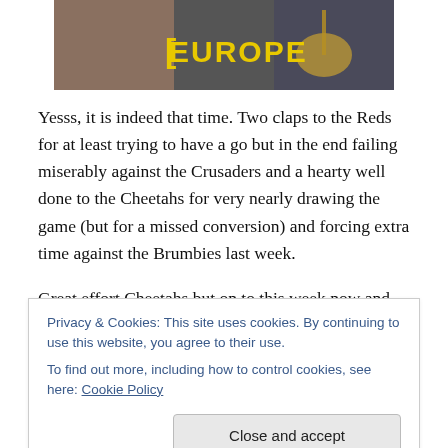[Figure (photo): Photo showing musicians with a yellow 'EUROPE' text/logo overlay, with guitar visible]
Yesss, it is indeed that time. Two claps to the Reds for at least trying to have a go but in the end failing miserably against the Crusaders and a hearty well done to the Cheetahs for very nearly drawing the game (but for a missed conversion) and forcing extra time against the Brumbies last week.
Great effort Cheetahs but on to this week now and two
Privacy & Cookies: This site uses cookies. By continuing to use this website, you agree to their use.
To find out more, including how to control cookies, see here: Cookie Policy
she said)